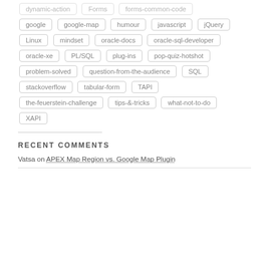dynamic-action (partial, top cut off)
Forms
forms-common-code
google
google-map
humour
javascript
jQuery
Linux
mindset
oracle-docs
oracle-sql-developer
oracle-xe
PL/SQL
plug-ins
pop-quiz-hotshot
problem-solved
question-from-the-audience
SQL
stackoverflow
tabular-form
TAPI
the-feuerstein-challenge
tips-&-tricks
what-not-to-do
XAPI
RECENT COMMENTS
Vatsa on APEX Map Region vs. Google Map Plugin